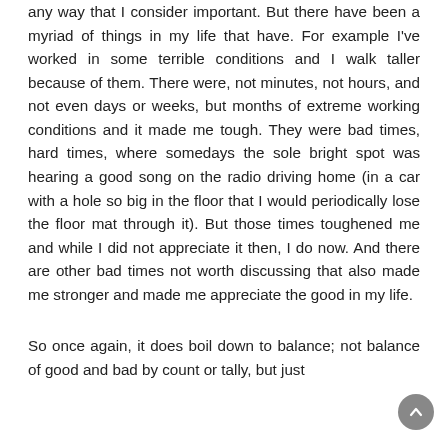any way that I consider important. But there have been a myriad of things in my life that have. For example I've worked in some terrible conditions and I walk taller because of them. There were, not minutes, not hours, and not even days or weeks, but months of extreme working conditions and it made me tough. They were bad times, hard times, where somedays the sole bright spot was hearing a good song on the radio driving home (in a car with a hole so big in the floor that I would periodically lose the floor mat through it). But those times toughened me and while I did not appreciate it then, I do now. And there are other bad times not worth discussing that also made me stronger and made me appreciate the good in my life.
So once again, it does boil down to balance; not balance of good and bad by count or tally, but just the pleasure and...